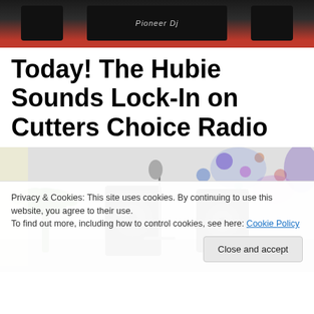[Figure (photo): Top portion showing Pioneer DJ equipment/turntables on a surface with red elements in background]
Today! The Hubie Sounds Lock-In on Cutters Choice Radio
[Figure (photo): Room setup with speakers, microphone stand, inflatable palm tree, colorful disco lights on wall, and various decorations]
Privacy & Cookies: This site uses cookies. By continuing to use this website, you agree to their use.
To find out more, including how to control cookies, see here: Cookie Policy
Close and accept